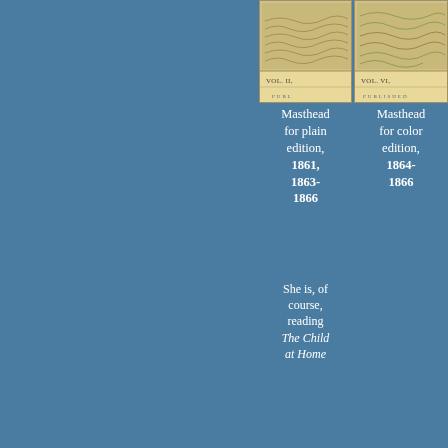[Figure (photo): Masthead image for plain edition, showing Vol. II with decorative engraving at top and 'PUBL...' text at bottom, aged cream/tan colored paper]
Masthead for plain edition, 1861, 1863-1866
[Figure (photo): Masthead image for color edition, showing Vol. VI with decorative engraving at top and 'PUBLISHED' text at bottom, aged cream/tan colored paper]
Masthead for color edition, 1864-1866
She is, of course, reading The Child at Home
[Figure (photo): Masthead image for plain edition bottom row, showing Vol. XII with large 'THE C...' decorative title engraving, aged cream/tan colored paper]
[Figure (photo): Masthead image for color edition bottom row, showing Vol. XI with large 'THE C...' decorative title engraving in color, aged cream/tan colored paper]
Masthead for plain edition,
Masthead for color edition,